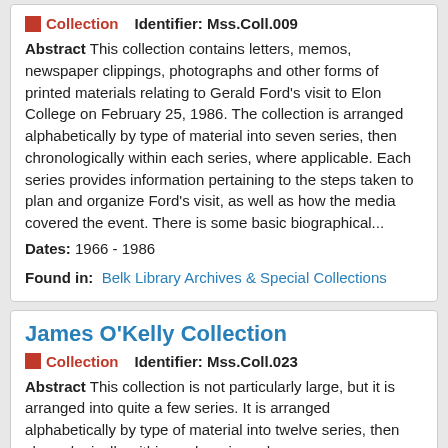Collection   Identifier: Mss.Coll.009
Abstract This collection contains letters, memos, newspaper clippings, photographs and other forms of printed materials relating to Gerald Ford's visit to Elon College on February 25, 1986. The collection is arranged alphabetically by type of material into seven series, then chronologically within each series, where applicable. Each series provides information pertaining to the steps taken to plan and organize Ford's visit, as well as how the media covered the event. There is some basic biographical...
Dates: 1966 - 1986
Found in:   Belk Library Archives & Special Collections
James O'Kelly Collection
Collection   Identifier: Mss.Coll.023
Abstract This collection is not particularly large, but it is arranged into quite a few series. It is arranged alphabetically by type of material into twelve series, then chronologically within each series, where